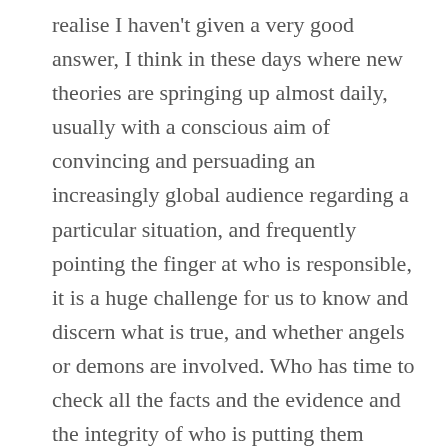realise I haven't given a very good answer, I think in these days where new theories are springing up almost daily, usually with a conscious aim of convincing and persuading an increasingly global audience regarding a particular situation, and frequently pointing the finger at who is responsible, it is a huge challenge for us to know and discern what is true, and whether angels or demons are involved. Who has time to check all the facts and the evidence and the integrity of who is putting them forward, and the real intent behind them ? The reaction of your friends is quite understandable – one tends to believe who one trusts, and trust in the institutions that people until recently looked up to is dwindling due to various scandals. However, if they are kind and talented,